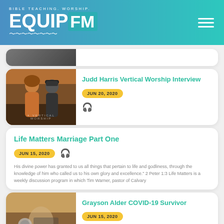BIBLE TEACHING. WORSHIP. EQUIPFM
[Figure (photo): Partial card with image clipped at top of content area]
[Figure (photo): Two men posing — Judd Harris Vertical Worship Interview]
Judd Harris Vertical Worship Interview
JUN 20, 2020
Life Matters Marriage Part One
JUN 15, 2020
His divine power has granted to us all things that pertain to life and godliness, through the knowledge of him who called us to his own glory and excellence." 2 Peter 1:3 Life Matters is a weekly discussion program in which Tim Warner, pastor of Calvary...
[Figure (photo): Hospital/COVID survivor scene — Grayson Alder]
Grayson Alder COVID-19 Survivor
JUN 15, 2020